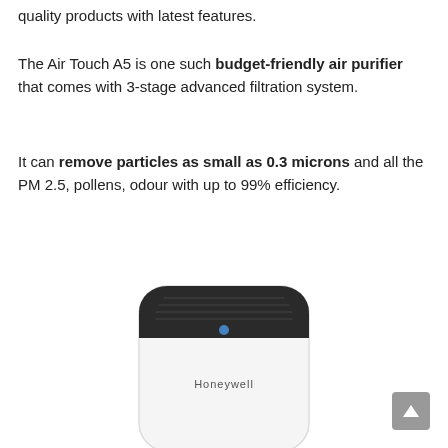quality products with latest features.
The Air Touch A5 is one such budget-friendly air purifier that comes with 3-stage advanced filtration system.
It can remove particles as small as 0.3 microns and all the PM 2.5, pollens, odour with up to 99% efficiency.
[Figure (photo): Honeywell Air Touch A5 air purifier — a tall white rectangular unit with a dark rounded top panel displaying the brand name 'Honeywell' on the body.]